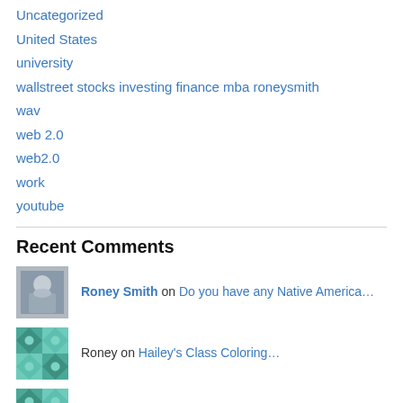Uncategorized
United States
university
wallstreet stocks investing finance mba roneysmith
wav
web 2.0
web2.0
work
youtube
Recent Comments
Roney Smith on Do you have any Native America…
Roney on Hailey's Class Coloring…
TWuck Me TWaddy on Hailey's Class Coloring…